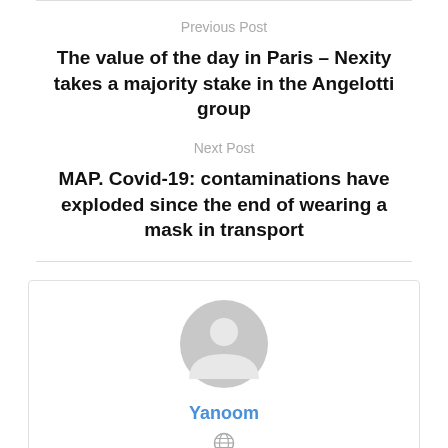Previous Post
The value of the day in Paris – Nexity takes a majority stake in the Angelotti group
Next Post
MAP. Covid-19: contaminations have exploded since the end of wearing a mask in transport
[Figure (illustration): Default user avatar icon — grey circular silhouette of a person]
Yanoom
[Figure (illustration): Small globe/website icon]